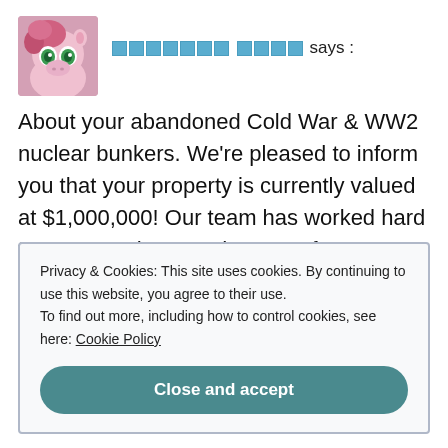[Figure (illustration): Cartoon pony avatar with pink hair and green eyes]
░░░░░░░ ░░░░ says :
About your abandoned Cold War & WW2 nuclear bunkers. We're pleased to inform you that your property is currently valued at $1,000,000! Our team has worked hard to get you what you deserve. If you've got any questions, please contact us.
Privacy & Cookies: This site uses cookies. By continuing to use this website, you agree to their use. To find out more, including how to control cookies, see here: Cookie Policy
Close and accept